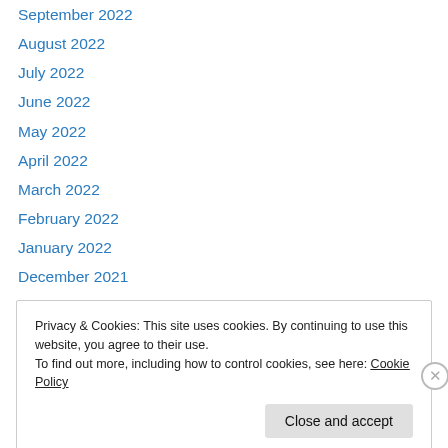September 2022
August 2022
July 2022
June 2022
May 2022
April 2022
March 2022
February 2022
January 2022
December 2021
November 2021
October 2021
September 2021
Privacy & Cookies: This site uses cookies. By continuing to use this website, you agree to their use.
To find out more, including how to control cookies, see here: Cookie Policy
Close and accept